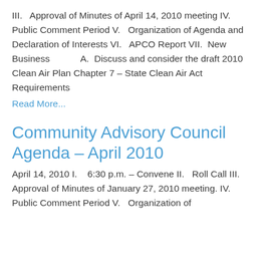III.   Approval of Minutes of April 14, 2010 meeting IV.  Public Comment Period V.   Organization of Agenda and Declaration of Interests VI.   APCO Report VII.  New Business        A.  Discuss and consider the draft 2010 Clean Air Plan Chapter 7 – State Clean Air Act Requirements
Read More...
Community Advisory Council Agenda – April 2010
April 14, 2010 I.    6:30 p.m. – Convene II.   Roll Call III.   Approval of Minutes of January 27, 2010 meeting.   IV.  Public Comment Period V.   Organization of